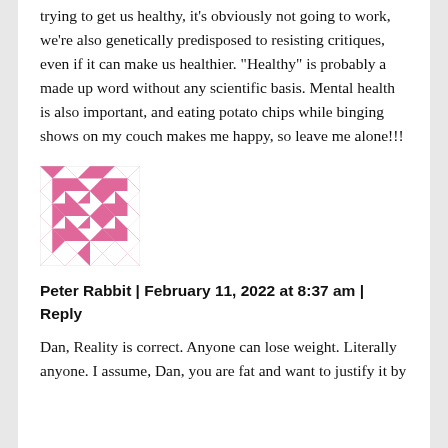trying to get us healthy, it’s obviously not going to work, we’re also genetically predisposed to resisting critiques, even if it can make us healthier. “Healthy” is probably a made up word without any scientific basis. Mental health is also important, and eating potato chips while binging shows on my couch makes me happy, so leave me alone!!!
[Figure (illustration): Pink and white geometric diamond/square pattern avatar image for user Peter Rabbit]
Peter Rabbit | February 11, 2022 at 8:37 am | Reply
Dan, Reality is correct. Anyone can lose weight. Literally anyone. I assume, Dan, you are fat and want to justify it by